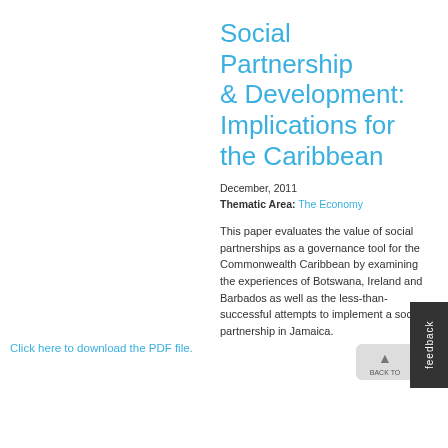Social Partnership & Development: Implications for the Caribbean
December, 2011
Thematic Area: The Economy
This paper evaluates the value of social partnerships as a governance tool for the Commonwealth Caribbean by examining the experiences of Botswana, Ireland and Barbados as well as the less-than-successful attempts to implement a social partnership in Jamaica.
Click here to download the PDF file.